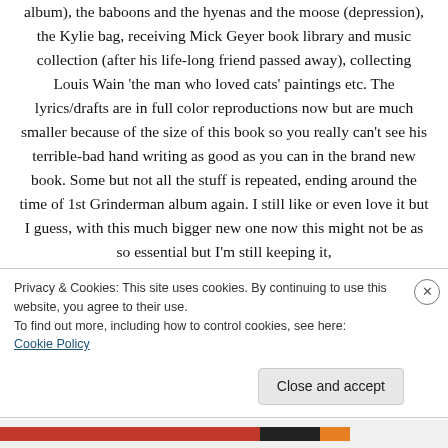album), the baboons and the hyenas and the moose (depression), the Kylie bag, receiving Mick Geyer book library and music collection (after his life-long friend passed away), collecting Louis Wain 'the man who loved cats' paintings etc. The lyrics/drafts are in full color reproductions now but are much smaller because of the size of this book so you really can't see his terrible-bad hand writing as good as you can in the brand new book. Some but not all the stuff is repeated, ending around the time of 1st Grinderman album again. I still like or even love it but I guess, with this much bigger new one now this might not be as so essential but I'm still keeping it,
Privacy & Cookies: This site uses cookies. By continuing to use this website, you agree to their use.
To find out more, including how to control cookies, see here: Cookie Policy
Close and accept